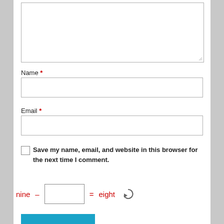[Figure (screenshot): Comment form textarea (empty, resizable) at the top of the page]
Name *
[Figure (screenshot): Name input field (empty text input box)]
Email *
[Figure (screenshot): Email input field (empty text input box)]
Save my name, email, and website in this browser for the next time I comment.
nine − [input] = eight
[Figure (screenshot): Submit button (blue/cyan)]